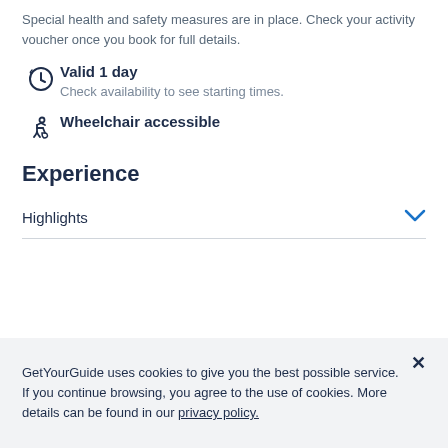Special health and safety measures are in place. Check your activity voucher once you book for full details.
Valid 1 day
Check availability to see starting times.
Wheelchair accessible
Experience
Highlights
GetYourGuide uses cookies to give you the best possible service. If you continue browsing, you agree to the use of cookies. More details can be found in our privacy policy.